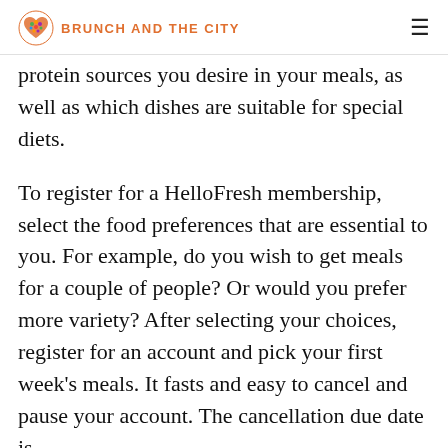BRUNCH AND THE CITY
protein sources you desire in your meals, as well as which dishes are suitable for special diets.
To register for a HelloFresh membership, select the food preferences that are essential to you. For example, do you wish to get meals for a couple of people? Or would you prefer more variety? After selecting your choices, register for an account and pick your first week's meals. It fasts and easy to cancel and pause your account. The cancellation due date is